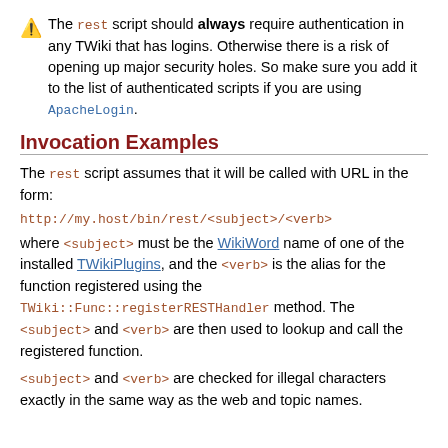⚠ The rest script should always require authentication in any TWiki that has logins. Otherwise there is a risk of opening up major security holes. So make sure you add it to the list of authenticated scripts if you are using ApacheLogin.
Invocation Examples
The rest script assumes that it will be called with URL in the form:
http://my.host/bin/rest/<subject>/<verb>
where <subject> must be the WikiWord name of one of the installed TWikiPlugins, and the <verb> is the alias for the function registered using the TWiki::Func::registerRESTHandler method. The <subject> and <verb> are then used to lookup and call the registered function.
<subject> and <verb> are checked for illegal characters exactly in the same way as the web and topic names.